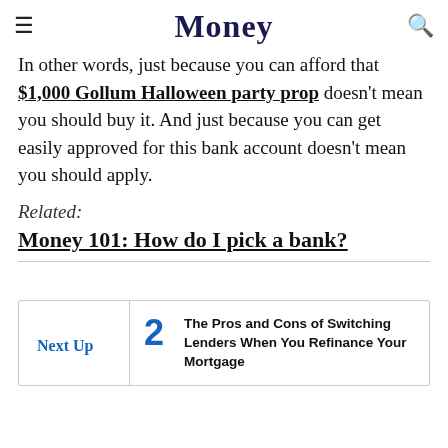Money
In other words, just because you can afford that $1,000 Gollum Halloween party prop doesn't mean you should buy it. And just because you can get easily approved for this bank account doesn't mean you should apply.
Related:
Money 101: How do I pick a bank?
Next Up
2 The Pros and Cons of Switching Lenders When You Refinance Your Mortgage